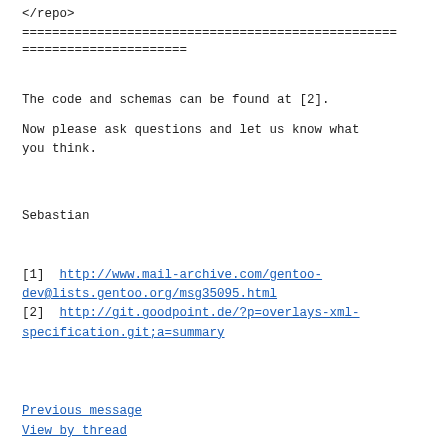</repo>
=======================================================================
The code and schemas can be found at [2].
Now please ask questions and let us know what you think.
Sebastian
[1]  http://www.mail-archive.com/gentoo-dev@lists.gentoo.org/msg35095.html
[2]  http://git.goodpoint.de/?p=overlays-xml-specification.git;a=summary
Previous message
View by thread